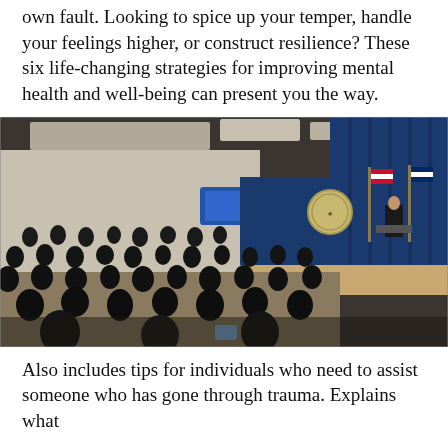own fault. Looking to spice up your temper, handle your feelings higher, or construct resilience? These six life-changing strategies for improving mental health and well-being can present you the way.
[Figure (photo): A large auditorium audience seated in rows of dark chairs, viewed from behind, facing a stage with a speaker at a podium, flanked by American flags and a blue curtain backdrop with a government seal.]
Also includes tips for individuals who need to assist someone who has gone through trauma. Explains what